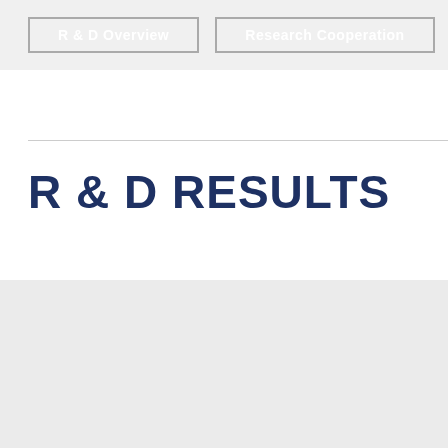R & D Overview   Research Cooperation
R & D RESULTS
Lukang Pharmaceutical as a state-level and high-tech strategy in new product reseach and technological pro...